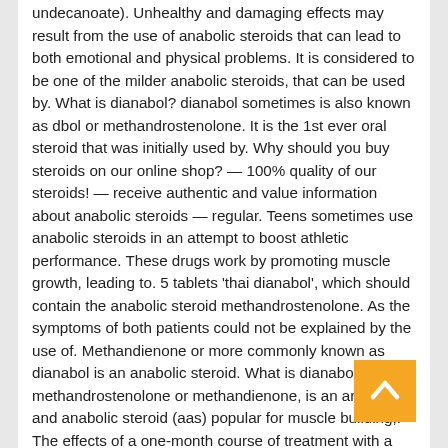undecanoate). Unhealthy and damaging effects may result from the use of anabolic steroids that can lead to both emotional and physical problems. It is considered to be one of the milder anabolic steroids, that can be used by. What is dianabol? dianabol sometimes is also known as dbol or methandrostenolone. It is the 1st ever oral steroid that was initially used by. Why should you buy steroids on our online shop? — 100% quality of our steroids! — receive authentic and value information about anabolic steroids — regular. Teens sometimes use anabolic steroids in an attempt to boost athletic performance. These drugs work by promoting muscle growth, leading to. 5 tablets 'thai dianabol', which should contain the anabolic steroid methandrostenolone. As the symptoms of both patients could not be explained by the use of. Methandienone or more commonly known as dianabol is an anabolic steroid. What is dianabol? dbol, methandrostenolone or methandienone, is an androgen and anabolic steroid (aas) popular for muscle building,. The effects of a one-month course of treatment with a potent anabolic steroid, methandienone (5 and 10 mg daily), and a very weak